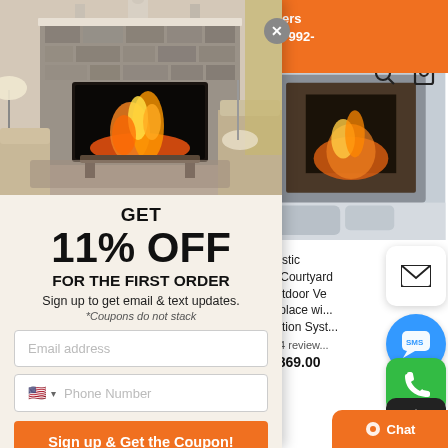Returns on Orders. Text or Call 888-992-... /Week.
[Figure (screenshot): Popup modal with fireplace living room photo at top]
GET
11% OFF
FOR THE FIRST ORDER
Sign up to get email & text updates.
*Coupons do not stack
Email address
Phone Number
Sign up & Get the Coupon!
By entering your phone number, you agree to receive marketing messages at the number provided. Consent is not a condition of purchase. Message and data rates may apply. Message frequency
[Figure (photo): Small product photo of Majestic 42 inch Courtyard Outdoor Vent-Free Fireplace with Ignition System]
Majestic 42" Courtyard Outdoor Ve... Fireplace wi... ignition Syst...
4 reviews
$2,869.00
Chat